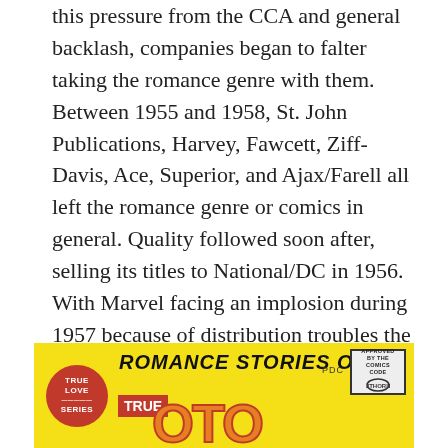this pressure from the CCA and general backlash, companies began to falter taking the romance genre with them. Between 1955 and 1958, St. John Publications, Harvey, Fawcett, Ziff-Davis, Ace, Superior, and Ajax/Farell all left the romance genre or comics in general. Quality followed soon after, selling its titles to National/DC in 1956. With Marvel facing an implosion during 1957 because of distribution troubles the company was significantly hobbled during this time as well. Charlton was still chugging along though as their 15 titles became fully half of the romance genre in 1959. But the CCA was not the only problem for romance during those decades.
[Figure (illustration): Comic book banner for 'Romance Stories of True' in yellow background with red True Love badge circle on left, bold black italic text reading 'ROMANCE STORIES OF', red TRUE box, orange/red large letters at bottom, Comics Code Authority stamp top right, PDC label.]